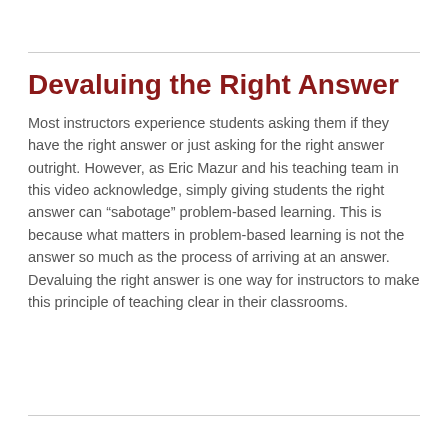Devaluing the Right Answer
Most instructors experience students asking them if they have the right answer or just asking for the right answer outright. However, as Eric Mazur and his teaching team in this video acknowledge, simply giving students the right answer can "sabotage" problem-based learning. This is because what matters in problem-based learning is not the answer so much as the process of arriving at an answer. Devaluing the right answer is one way for instructors to make this principle of teaching clear in their classrooms.